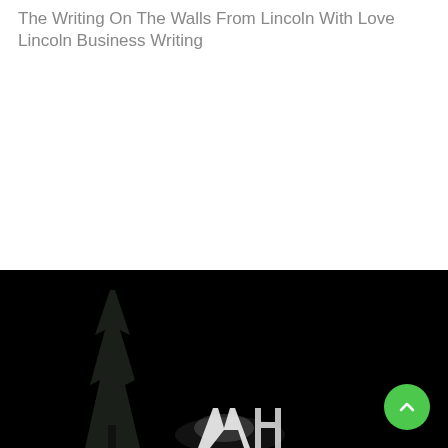The Writing On The Walls From Lincoln With Love Lincoln Business Writing
[Figure (photo): Night-time outdoor photograph showing illuminated objects or decorations against a dark black background, with a silhouette of a tree on the left side and bright white light shapes visible near the center-bottom of the image.]